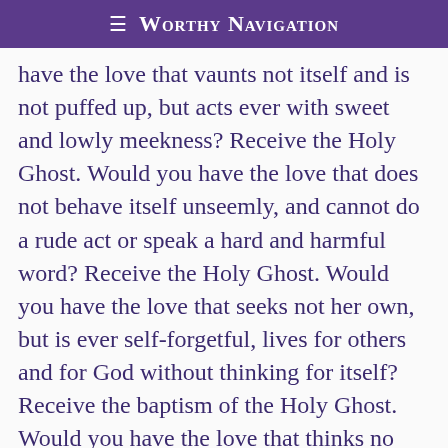≡ Worthy Navigation
have the love that vaunts not itself and is not puffed up, but acts ever with sweet and lowly meekness? Receive the Holy Ghost. Would you have the love that does not behave itself unseemly, and cannot do a rude act or speak a hard and harmful word? Receive the Holy Ghost. Would you have the love that seeks not her own, but is ever self-forgetful, lives for others and for God without thinking for itself? Receive the baptism of the Holy Ghost. Would you have the love that thinks no evil, that allows no thought of suspicion ever to touch you, that imagines no wrong in a brother, that would rather be deceived than think evil, that believes all things with simple, artless confidence, that hopes all things, even though the present seems all wrong, and covers the future with faith and grace, and blessing—